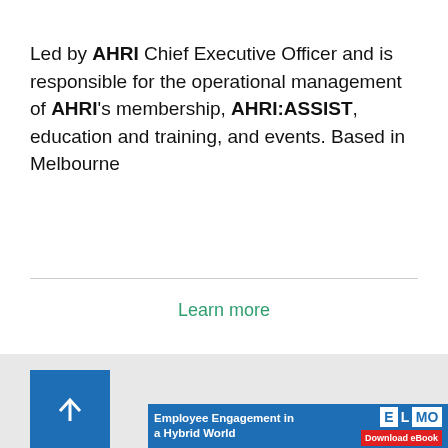Led by AHRI Chief Executive Officer and is responsible for the operational management of AHRI's membership, AHRI:ASSIST, education and training, and events. Based in Melbourne
Learn more
[Figure (other): Blue square button with upward arrow icon]
[Figure (other): ELMO advertisement banner: Employee Engagement in a Hybrid World — Download eBook]